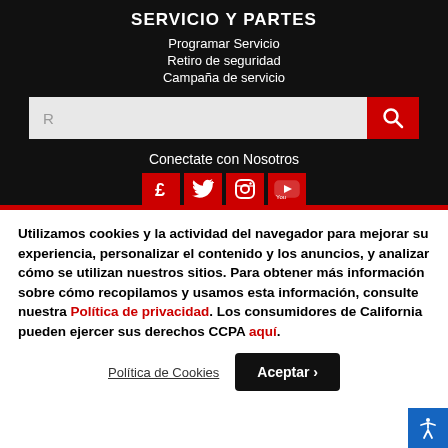SERVICIO Y PARTES
Programar Servicio
Retiro de seguridad
Campaña de servicio
[Figure (screenshot): Search input bar with red search button]
Conectate con Nosotros
[Figure (infographic): Social media icons row: Facebook, Twitter, Instagram, YouTube on red backgrounds]
Utilizamos cookies y la actividad del navegador para mejorar su experiencia, personalizar el contenido y los anuncios, y analizar cómo se utilizan nuestros sitios. Para obtener más información sobre cómo recopilamos y usamos esta información, consulte nuestra Política de privacidad. Los consumidores de California pueden ejercer sus derechos CCPA aquí.
Política de Cookies
Aceptar ›